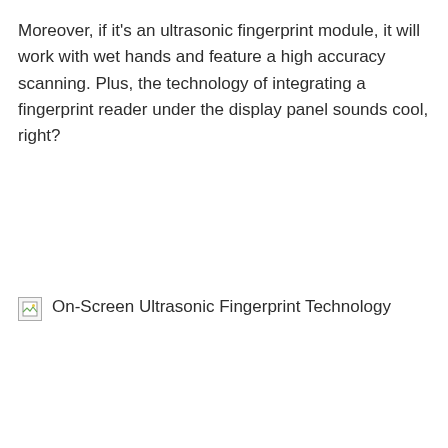Moreover, if it's an ultrasonic fingerprint module, it will work with wet hands and feature a high accuracy scanning. Plus, the technology of integrating a fingerprint reader under the display panel sounds cool, right?
[Figure (illustration): Broken image placeholder with alt text: On-Screen Ultrasonic Fingerprint Technology]